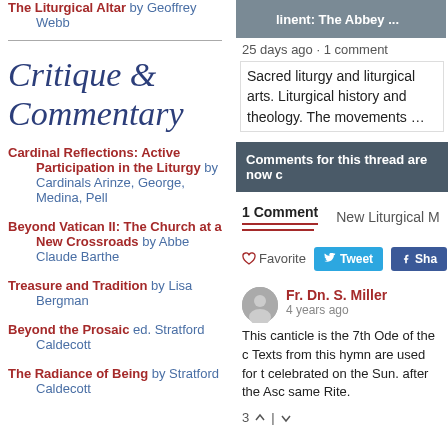The Liturgical Altar by Geoffrey Webb
Critique & Commentary
Cardinal Reflections: Active Participation in the Liturgy by Cardinals Arinze, George, Medina, Pell
Beyond Vatican II: The Church at a New Crossroads by Abbe Claude Barthe
Treasure and Tradition by Lisa Bergman
Beyond the Prosaic ed. Stratford Caldecott
The Radiance of Being by Stratford Caldecott
25 days ago · 1 comment
Sacred liturgy and liturgical arts. Liturgical history and theology. The movements …
Comments for this thread are now c
1 Comment   New Liturgical M
Favorite   Tweet   Sha
Fr. Dn. S. Miller
4 years ago
This canticle is the 7th Ode of the c Texts from this hymn are used for t celebrated on the Sun. after the Asc same Rite.